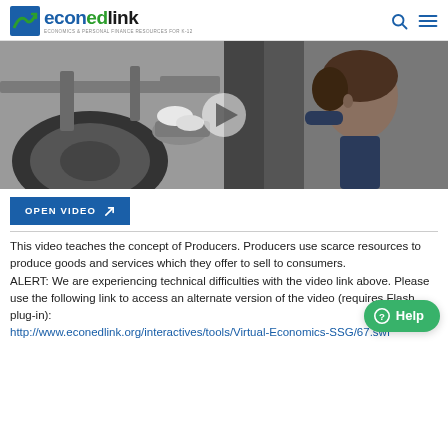econedlink — Economics & Personal Finance Resources for K-12
[Figure (photo): A mechanic working underneath a car, inspecting the undercarriage with a play button overlay in the center indicating a video thumbnail.]
OPEN VIDEO ↗
This video teaches the concept of Producers. Producers use scarce resources to produce goods and services which they offer to sell to consumers.
ALERT: We are experiencing technical difficulties with the video link above. Please use the following link to access an alternate version of the video (requires Flash plug-in): http://www.econedlink.org/interactives/tools/Virtual-Economics-SSG/67.swf